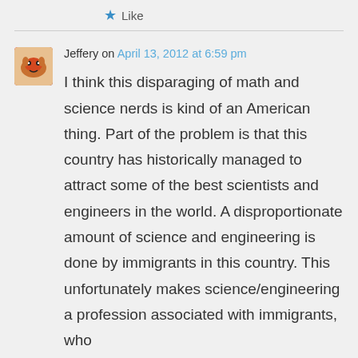★ Like
Jeffery on April 13, 2012 at 6:59 pm
I think this disparaging of math and science nerds is kind of an American thing. Part of the problem is that this country has historically managed to attract some of the best scientists and engineers in the world. A disproportionate amount of science and engineering is done by immigrants in this country. This unfortunately makes science/engineering a profession associated with immigrants, who